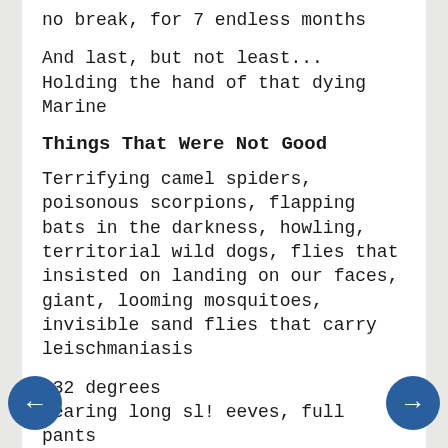no break, for 7 endless months
And last, but not least...
Holding the hand of that dying Marine
Things That Were Not Good
Terrifying camel spiders, poisonous scorpions, flapping bats in the darkness, howling, territorial wild dogs, flies that insisted on landing on our faces, giant, looming mosquitoes, invisible sand flies that carry leischmaniasis
132 degrees
Wearing long sl! eeves, full pants and combat boots in 132 degrees
Random and totally predictable power outages that led to sweating throughout the night